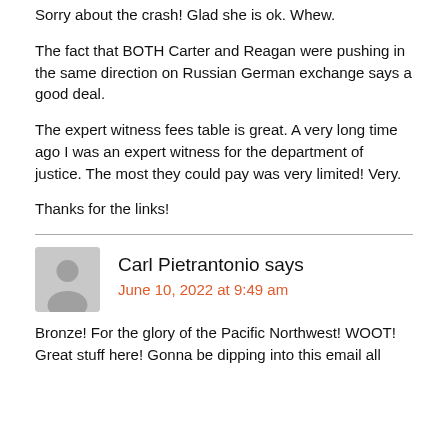Sorry about the crash! Glad she is ok. Whew.
The fact that BOTH Carter and Reagan were pushing in the same direction on Russian German exchange says a good deal.
The expert witness fees table is great. A very long time ago I was an expert witness for the department of justice. The most they could pay was very limited! Very.
Thanks for the links!
Carl Pietrantonio says
June 10, 2022 at 9:49 am
Bronze! For the glory of the Pacific Northwest! WOOT! Great stuff here! Gonna be dipping into this email all